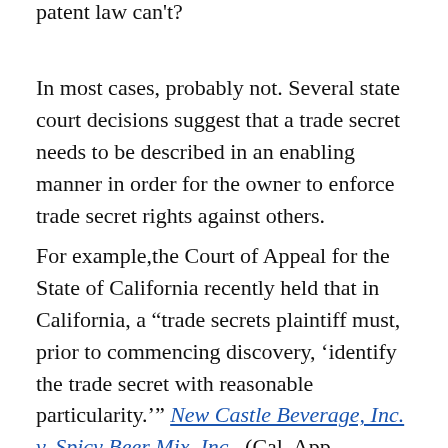patent law can't?
In most cases, probably not. Several state court decisions suggest that a trade secret needs to be described in an enabling manner in order for the owner to enforce trade secret rights against others.
For example,the Court of Appeal for the State of California recently held that in California, a “trade secrets plaintiff must, prior to commencing discovery, ‘identify the trade secret with reasonable particularity.’” New Castle Beverage, Inc. v. Spicy Beer Mix, Inc., (Cal. App. 6/17/2014).  In that case, the complaint described the trade secret as a “process of applying a secret solution to the inner and outer surfaces adjacent the lip of a beverage cup to permit a first mixture of spices